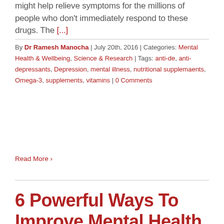might help relieve symptoms for the millions of people who don't immediately respond to these drugs. The [...]
By Dr Ramesh Manocha | July 20th, 2016 | Categories: Mental Health & Wellbeing, Science & Research | Tags: anti-de, anti-depressants, Depression, mental illness, nutritional supplemaents, Omega-3, supplements, vitamins | 0 Comments
Read More
6 Powerful Ways To Improve Mental Health
Stock Images Mental health is intrinsically linked to your diet. Studies have shown that certain nutrients and deficiencies are increasingly responsible for the health of your brain. Here are six dietary factors that can exert a profound influence over your mental wellness. 1. Omega-3s Most of us don't get enough omega-3s in our